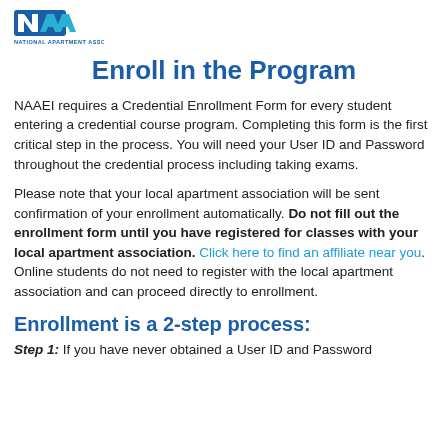[Figure (logo): National Apartment Association (NAA) logo with blue/green stylized letters and text 'NATIONAL APARTMENT ASSOCIATION' below]
Enroll in the Program
NAAEI requires a Credential Enrollment Form for every student entering a credential course program. Completing this form is the first critical step in the process. You will need your User ID and Password throughout the credential process including taking exams.
Please note that your local apartment association will be sent confirmation of your enrollment automatically. Do not fill out the enrollment form until you have registered for classes with your local apartment association. Click here to find an affiliate near you. Online students do not need to register with the local apartment association and can proceed directly to enrollment.
Enrollment is a 2-step process:
Step 1: If you have never obtained a User ID and Password